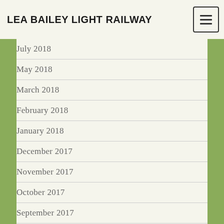LEA BAILEY LIGHT RAILWAY
July 2018
May 2018
March 2018
February 2018
January 2018
December 2017
November 2017
October 2017
September 2017
August 2017
June 2017